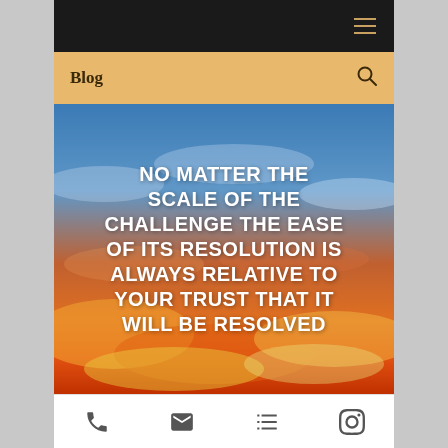Navigation bar with hamburger menu icon
Blog
[Figure (photo): Inspirational quote overlaid on a dramatic sky photograph with sunset clouds in orange, red, and blue hues. Quote text reads: NO MATTER THE SCALE OF THE CHALLENGE THE EASE OF ITS RESOLUTION IS ALWAYS RELATIVE TO YOUR TRUST THAT IT WILL BE RESOLVED]
Footer icons: phone, email, menu/list, instagram